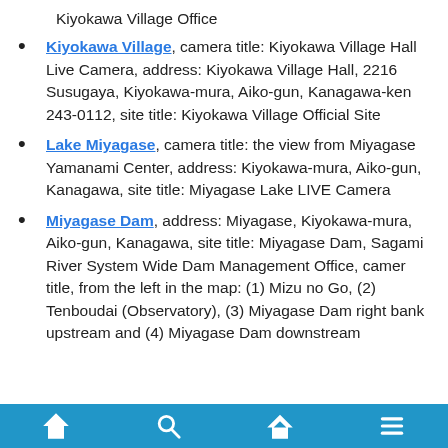Kiyokawa Village Office
Kiyokawa Village, camera title: Kiyokawa Village Hall Live Camera, address: Kiyokawa Village Hall, 2216 Susugaya, Kiyokawa-mura, Aiko-gun, Kanagawa-ken 243-0112, site title: Kiyokawa Village Official Site
Lake Miyagase, camera title: the view from Miyagase Yamanami Center, address: Kiyokawa-mura, Aiko-gun, Kanagawa, site title: Miyagase Lake LIVE Camera
Miyagase Dam, address: Miyagase, Kiyokawa-mura, Aiko-gun, Kanagawa, site title: Miyagase Dam, Sagami River System Wide Dam Management Office, camer title, from the left in the map: (1) Mizu no Go, (2) Tenboudai (Observatory), (3) Miyagase Dam right bank upstream and (4) Miyagase Dam downstream